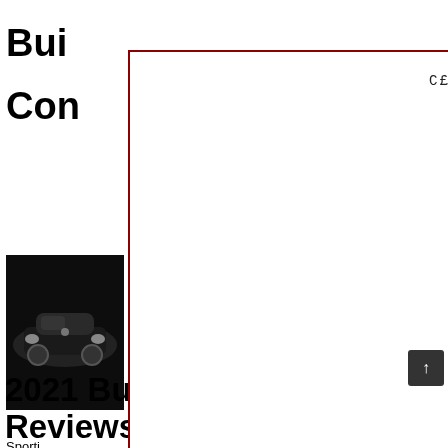Buick ... Con...
[Figure (photo): Dark background photo of a Buick SUV (front view, white vehicle on dark background)]
Sporting ... magnif... compe...orer, nevert...n strateg...Audi Q7 or ...will find a...
[Figure (screenshot): Modal overlay with text 'CE!CK !M4GE TO CE0$E' on white background with dark red border]
2021 Buick Enclave Price, Reviews,